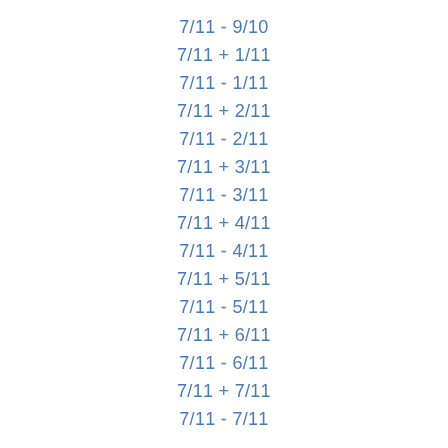7/11 - 9/10
7/11 + 1/11
7/11 - 1/11
7/11 + 2/11
7/11 - 2/11
7/11 + 3/11
7/11 - 3/11
7/11 + 4/11
7/11 - 4/11
7/11 + 5/11
7/11 - 5/11
7/11 + 6/11
7/11 - 6/11
7/11 + 7/11
7/11 - 7/11